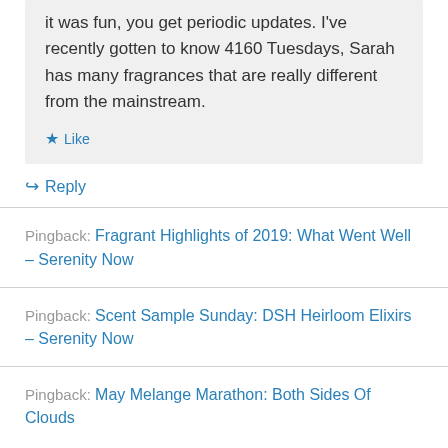it was fun, you get periodic updates. I've recently gotten to know 4160 Tuesdays, Sarah has many fragrances that are really different from the mainstream.
★ Like
↳ Reply
Pingback: Fragrant Highlights of 2019: What Went Well – Serenity Now
Pingback: Scent Sample Sunday: DSH Heirloom Elixirs – Serenity Now
Pingback: May Melange Marathon: Both Sides Of Clouds